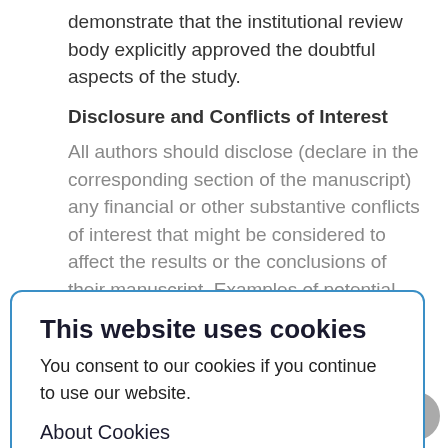demonstrate that the institutional review body explicitly approved the doubtful aspects of the study.
Disclosure and Conflicts of Interest
All authors should disclose (declare in the corresponding section of the manuscript) any financial or other substantive conflicts of interest that might be considered to affect the results or the conclusions of their manuscript. Examples of potential conflicts of interest which should be disclosed include:
[Figure (screenshot): Cookie consent overlay dialog with title 'This website uses cookies', body text 'You consent to our cookies if you continue to use our website.', 'About Cookies' subtitle, and an OK button. Blue border rounded rectangle.]
• receiving funding in support of the research or the preparation of the manuscript, any connection (employment, consultancies, stock ownership, royalties, providing expert opinions) with organizations that have a direct interest in the subject of research or review;
• application or registration of patents for